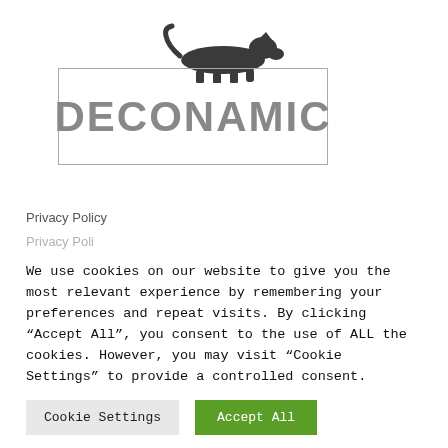[Figure (logo): Deconamic logo: a black panther silhouette above a bordered rectangle containing the text DECONAMIC in bold gray letters]
Privacy Policy
Privacy Poli...
We use cookies on our website to give you the most relevant experience by remembering your preferences and repeat visits. By clicking “Accept All”, you consent to the use of ALL the cookies. However, you may visit “Cookie Settings” to provide a controlled consent.
Cookie Settings
Accept All